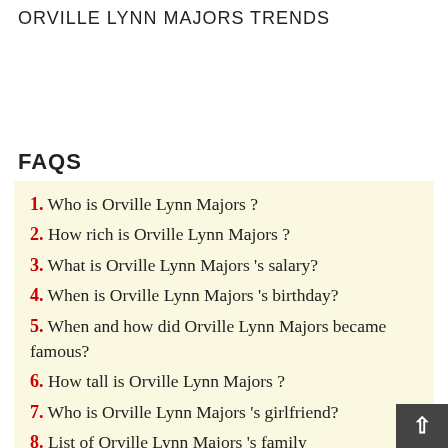ORVILLE LYNN MAJORS TRENDS
FAQS
1. Who is Orville Lynn Majors ?
2. How rich is Orville Lynn Majors ?
3. What is Orville Lynn Majors 's salary?
4. When is Orville Lynn Majors 's birthday?
5. When and how did Orville Lynn Majors became famous?
6. How tall is Orville Lynn Majors ?
7. Who is Orville Lynn Majors 's girlfriend?
8. List of Orville Lynn Majors 's family